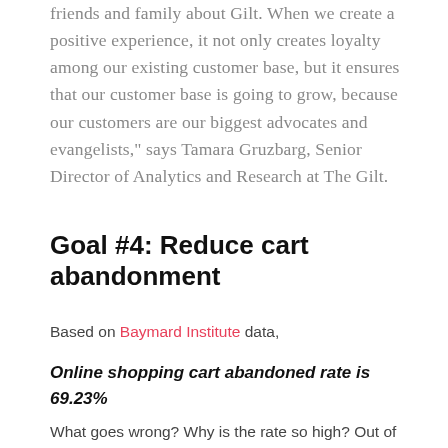friends and family about Gilt. When we create a positive experience, it not only creates loyalty among our existing customer base, but it ensures that our customer base is going to grow, because our customers are our biggest advocates and evangelists," says Tamara Gruzbarg, Senior Director of Analytics and Research at The Gilt.
Goal #4: Reduce cart abandonment
Based on Baymard Institute data,
Online shopping cart abandoned rate is 69.23%
What goes wrong? Why is the rate so high? Out of